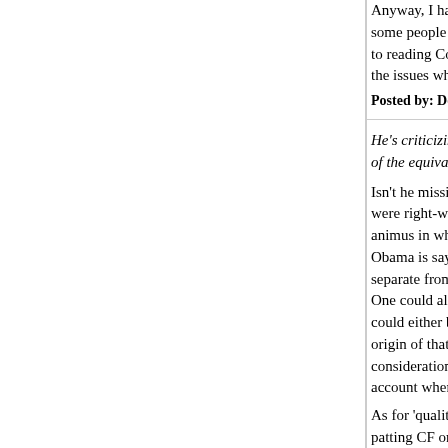Anyway, I haven't seen anything that will keep me from reading some people who I like on some issues and dislike on others. My reaction to reading Conor is that he might be a sort of second-order troll on the issues where I think he's good--I might as well...
Posted by: Donald Johnson | September 28, 2012 at 09:02 P...
He's criticizing the moral equivalence mongers and... of the equivalences.
Isn't he missing the forest for the trees? The people... were right-wingers who were looking for a gotcha... animus in whites. This seems like classic concern... Obama is saying black people are the same as a... separate from your point (which I agree with) that... One could also say that Wright was expressing so... could either be outraged that Obama 'threw him u... origin of that phrase in the campaign?) or underst... considerations involved. Which seems to me som... account when talking about drones.
As for 'quality concern trolling', since Henley cites... patting CF on the back for being a stirrer.
Posted by: liberal japonicus | September 28, 2012 at 09:19...